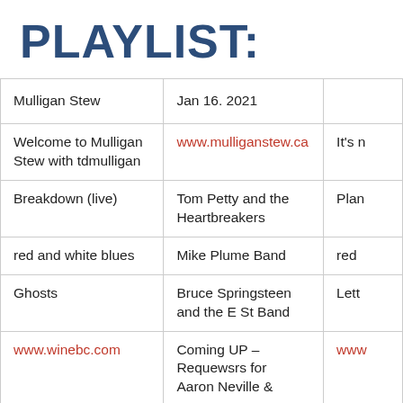PLAYLIST:
| Mulligan Stew | Jan 16. 2021 |  |
| Welcome to Mulligan Stew with tdmulligan | www.mulliganstew.ca | It's n |
| Breakdown (live) | Tom Petty and the Heartbreakers | Plan |
| red and white blues | Mike Plume Band | red |
| Ghosts | Bruce Springsteen and the E St Band | Lett |
| www.winebc.com | Coming UP – Requewsrs for Aaron Neville & | www |